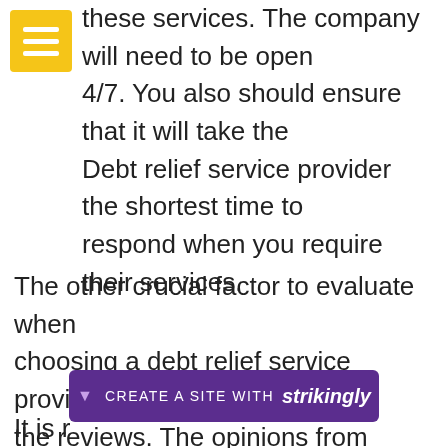[Figure (other): Yellow hamburger menu icon (three horizontal white lines on yellow background)]
these services. The company will need to be open 4/7. You also should ensure that it will take the Debt relief service provider the shortest time to respond when you require their services.
The other crucial factor to evaluate when choosing a debt relief service provider near you is the reviews. The opinions from people who’ve dealt with the debt relief service provider in the past are vital. This will tell you the kind of services to expect from the debt relief service provider.
[Figure (other): Strikingly website builder promotional bar with text 'CREATE A SITE WITH strikingly' on a purple background]
It is r